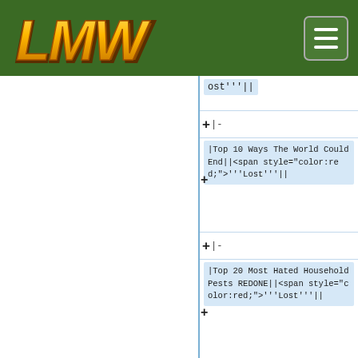[Figure (screenshot): LMW website logo - golden/orange stylized text on dark green navigation bar with hamburger menu button on right]
ost'''||
+|-
|Top 10 Ways The World Could End||<span style="color:red;">'''Lost'''||
+|-
|Top 20 Most Hated Household Pests REDONE||<span style="color:red;">'''Lost'''||
+|-
|Top 5 Tats Enhanced Sounds In Games||